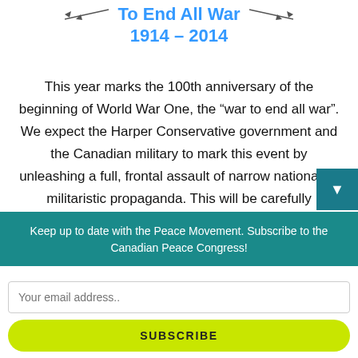To End All War
1914 – 2014
This year marks the 100th anniversary of the beginning of World War One, the “war to end all war”. We expect the Harper Conservative government and the Canadian military to mark this event by unleashing a full, frontal assault of narrow nationalist, militaristic propaganda. This will be carefully engineered to try to generate support for recent and ongoing military campaigns – the coup d’etat in
Keep up to date with the Peace Movement. Subscribe to the Canadian Peace Congress!
Your email address..
SUBSCRIBE